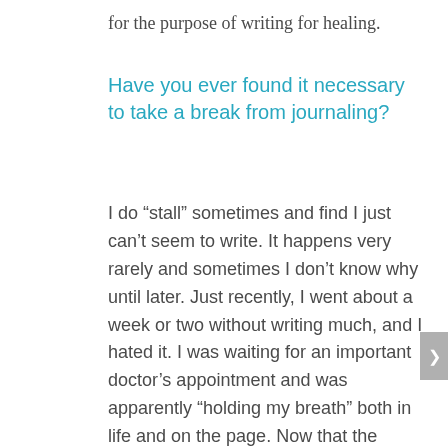for the purpose of writing for healing.
Have you ever found it necessary to take a break from journaling?
I do “stall” sometimes and find I just can’t seem to write. It happens very rarely and sometimes I don’t know why until later. Just recently, I went about a week or two without writing much, and I hated it. I was waiting for an important doctor’s appointment and was apparently “holding my breath” both in life and on the page. Now that the appointment is over and I have been diagnosed, I am back to writing